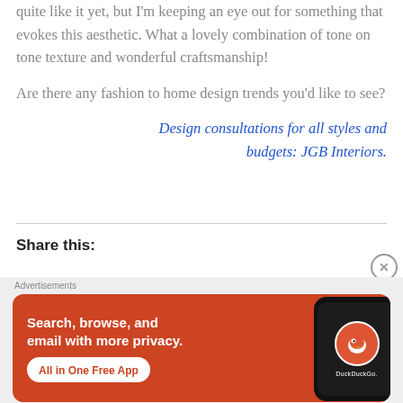quite like it yet, but I'm keeping an eye out for something that evokes this aesthetic. What a lovely combination of tone on tone texture and wonderful craftsmanship!
Are there any fashion to home design trends you'd like to see?
Design consultations for all styles and budgets: JGB Interiors.
Share this:
[Figure (screenshot): DuckDuckGo advertisement banner with orange background, text 'Search, browse, and email with more privacy. All in One Free App' and a phone showing the DuckDuckGo logo.]